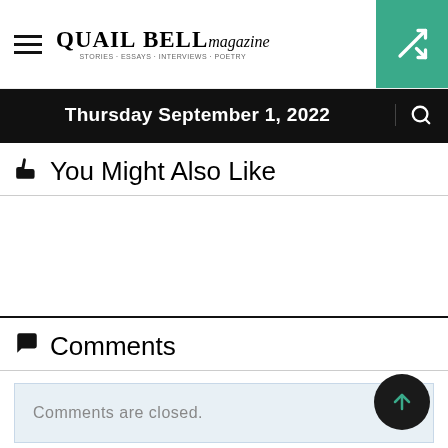Quail Bell Magazine — Thursday September 1, 2022
👍 You Might Also Like
💬 Comments
Comments are closed.